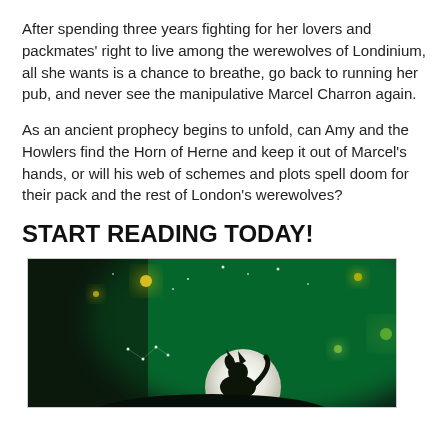After spending three years fighting for her lovers and packmates' right to live among the werewolves of Londinium, all she wants is a chance to breathe, go back to running her pub, and never see the manipulative Marcel Charron again.
As an ancient prophecy begins to unfold, can Amy and the Howlers find the Horn of Herne and keep it out of Marcel's hands, or will his web of schemes and plots spell doom for their pack and the rest of London's werewolves?
START READING TODAY!
[Figure (photo): A fantasy night scene showing a dark silhouette of a wolf howling at a large bright moon, surrounded by a glowing green bokeh background with scattered star-like lights.]